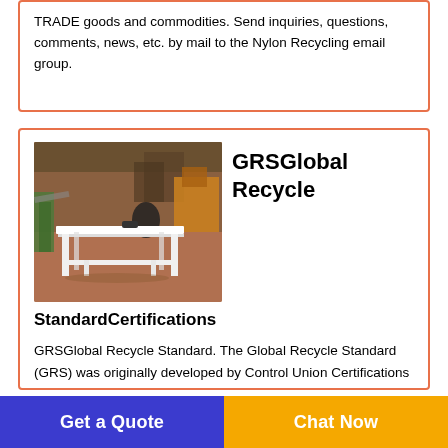TRADE goods and commodities. Send inquiries, questions, comments, news, etc. by mail to the Nylon Recycling email group.
[Figure (photo): Photo of a white wooden table/workbench in an industrial warehouse setting with various equipment and materials in the background.]
GRSGlobal Recycle
StandardCertifications
GRSGlobal Recycle Standard. The Global Recycle Standard (GRS) was originally developed by Control Union Certifications in 2008 and ownership was passed to the Textile Exchange 1 January 2011. The GRS is
Get a Quote
Chat Now